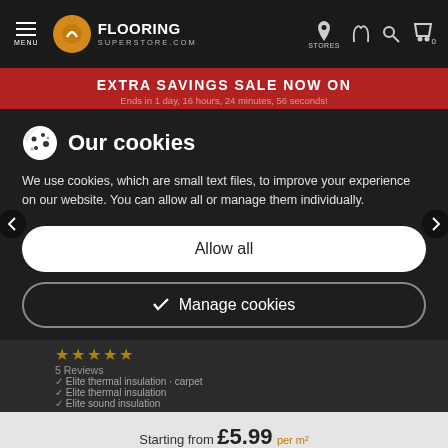MENU | FLOORING SUPERSTORE.COM | STORES
EXTRA SAVINGS SALE NOW ON
Ends in 1 day, 16 hours, 24 minutes, 56 seconds!
Our cookies
We use cookies, which are small text files, to improve your experience on our website. You can allow all or manage them individually.
Allow all
Manage cookies
Starting from £5.99 per m²